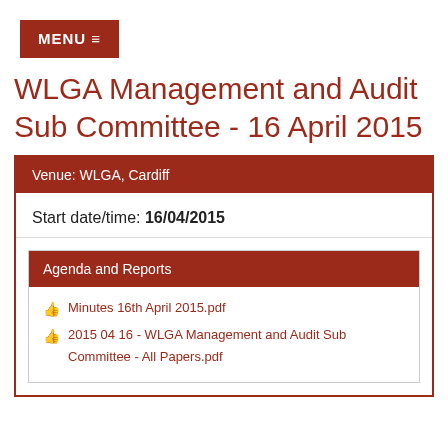MENU ≡
WLGA Management and Audit Sub Committee - 16 April 2015
Venue: WLGA, Cardiff
Start date/time: 16/04/2015
Agenda and Reports
Minutes 16th April 2015.pdf
2015 04 16 - WLGA Management and Audit Sub Committee - All Papers.pdf